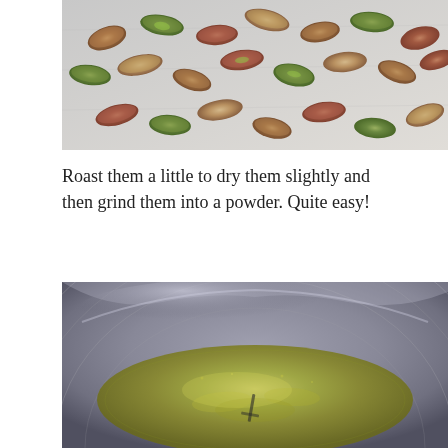[Figure (photo): Overhead view of shelled pistachio nuts spread out on a light-colored surface, showing various colors including green, tan, and reddish-brown.]
Roast them a little to dry them slightly and then grind them into a powder. Quite easy!
[Figure (photo): Close-up of ground pistachio powder (fine green powder) in a stainless steel mixing bowl viewed from above.]